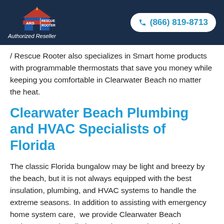ARS Rescue Rooter – Authorized Reseller | (866) 819-8713
/ Rescue Rooter also specializes in Smart home products with programmable thermostats that save you money while keeping you comfortable in Clearwater Beach no matter the heat.
Clearwater Beach Plumbing and HVAC Specialists of Florida
The classic Florida bungalow may be light and breezy by the beach, but it is not always equipped with the best insulation, plumbing, and HVAC systems to handle the extreme seasons. In addition to assisting with emergency home system care,  we provide Clearwater Beach maintenance, installation, and preventative work for a home away from now ARS / Rescue Rooter and